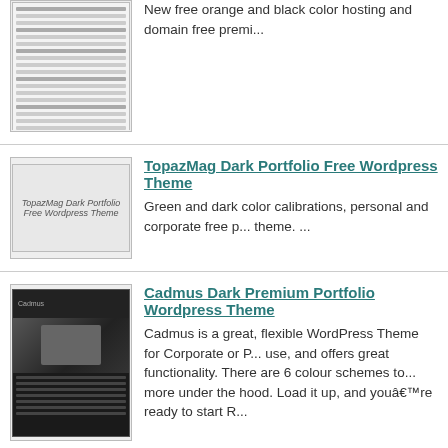[Figure (screenshot): Website screenshot thumbnail - orange/black hosting theme]
New free orange and black color hosting and domain free premi...
[Figure (screenshot): TopazMag Dark Portfolio Free Wordpress Theme thumbnail placeholder]
TopazMag Dark Portfolio Free Wordpress Theme
Green and dark color calibrations, personal and corporate free p... theme. ...
[Figure (screenshot): Cadmus Dark Premium Portfolio Wordpress Theme - dark screenshot]
Cadmus Dark Premium Portfolio Wordpress Theme
Cadmus is a great, flexible WordPress Theme for Corporate or P... use, and offers great functionality. There are 6 colour schemes to... more under the hood. Load it up, and youâ€™re ready to start R...
[Figure (screenshot): ClaraVilla Black & Orange Free Premium Wordpress Theme thumbnail]
ClaraVilla Black & Orange Free Premium Wordpress Them...
New Dark Orange free premium personal and freelance webmas... ...